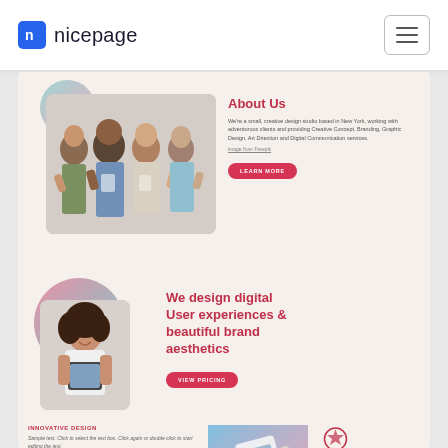nicepage
[Figure (photo): Four people giving thumbs up, team photo]
About Us
We're a small, creative design studio based in New York, working with adventurous clients and providing Creative Concept, Branding, Graphic Design, Art Direction and Digital Communication services.
image from Freepik
LEARN MORE
[Figure (photo): Woman holding tablet, smiling, with gradient circle decoration]
We design digital User experiences & beautiful brand aesthetics
VIEW PRICING
INNOVATIVE DESIGN
Sample text. Click to select the text box. Click again or double click to start editing the text.
images from Freepik
[Figure (photo): Keyboard/device at angle on gradient background]
[Figure (illustration): Award ribbon icon]
Premium Design
Amazing Photo
Creative Ideas